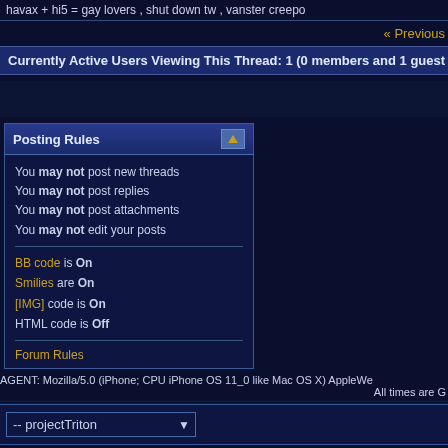havax + hi5 = gay lovers , shut down tw , vanster creepo
« Previous
Currently Active Users Viewing This Thread: 1 (0 members and 1 guest
Posting Rules
You may not post new threads
You may not post replies
You may not post attachments
You may not edit your posts
BB code is On
Smilies are On
[IMG] code is On
HTML code is Off
Forum Rules
AGENT: Mozilla/5.0 (iPhone; CPU iPhone OS 11_0 like Mac OS X) AppleWe
All times are G
-- projectTriton
Powered by
Copyright ©2000
All Content Copyric